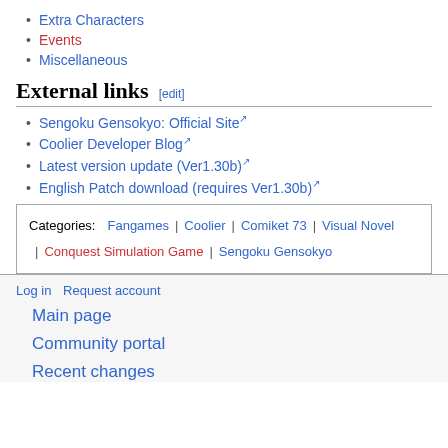Extra Characters
Events
Miscellaneous
External links [edit]
Sengoku Gensokyo: Official Site
Coolier Developer Blog
Latest version update (Ver1.30b)
English Patch download (requires Ver1.30b)
| Categories: | Fangames | Coolier | Comiket 73 | Visual Novel | Conquest Simulation Game | Sengoku Gensokyo |
Log in  Request account
Main page
Community portal
Recent changes